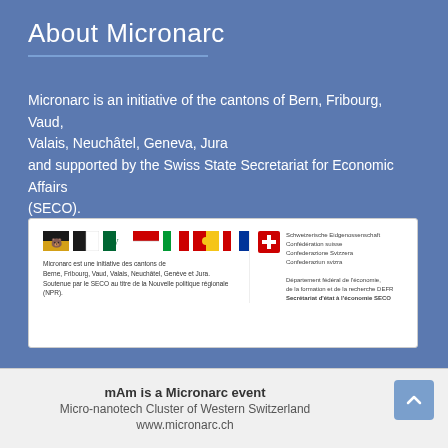About Micronarc
Micronarc is an initiative of the cantons of Bern, Fribourg, Vaud, Valais, Neuchâtel, Geneva, Jura and supported by the Swiss State Secretariat for Economic Affairs (SECO).
[Figure (logo): White box containing canton flags of Bern, Fribourg, Vaud, Valais, Neuchâtel, Geneva, Jura and the Swiss SECO (Secrétariat d'état à l'économie) logo with text in French describing Micronarc initiative and Swiss Confederation departments.]
mAm is a Micronarc event
Micro-nanotech Cluster of Western Switzerland
www.micronarc.ch